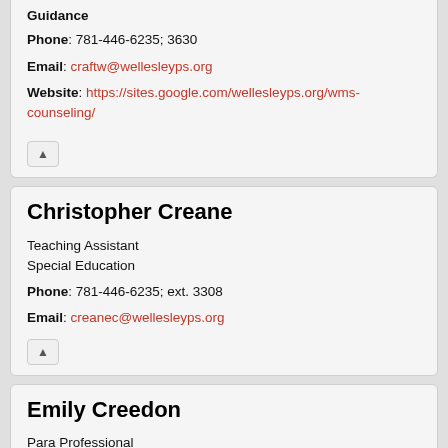Guidance
Phone: 781-446-6235; 3630
Email: craftw@wellesleyps.org
Website: https://sites.google.com/wellesleyps.org/wms-counseling/
Christopher Creane
Teaching Assistant
Special Education
Phone: 781-446-6235; ext. 3308
Email: creanec@wellesleyps.org
Emily Creedon
Para Professional
Special Education, Gr. 6,7,8